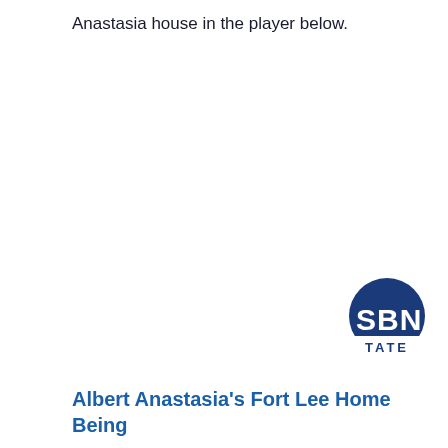Anastasia house in the player below.
[Figure (logo): SBN State logo — dark blue circle with white 'SBN' text and 'TATE' below on white background]
Albert Anastasia's Fort Lee Home Being